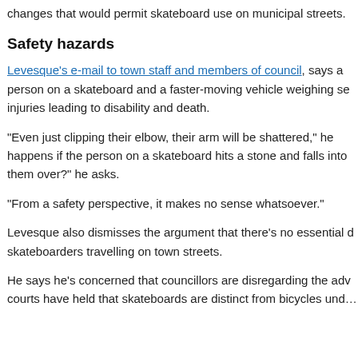changes that would permit skateboard use on municipal streets.
Safety hazards
Levesque's e-mail to town staff and members of council, says a person on a skateboard and a faster-moving vehicle weighing se… injuries leading to disability and death.
“Even just clipping their elbow, their arm will be shattered,” he happens if the person on a skateboard hits a stone and falls into them over?” he asks.
“From a safety perspective, it makes no sense whatsoever.”
Levesque also dismisses the argument that there’s no essential d… skateboarders travelling on town streets.
He says he’s concerned that councillors are disregarding the adv… courts have held that skateboards are distinct from bicycles und…